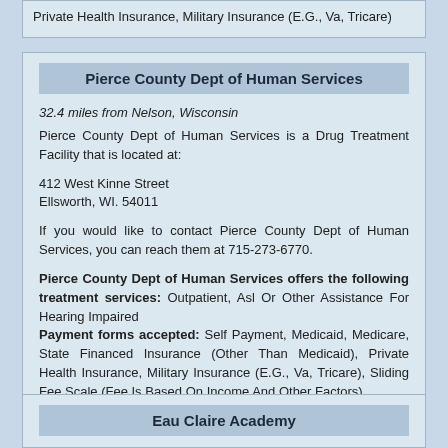Private Health Insurance, Military Insurance (E.G., Va, Tricare)
Pierce County Dept of Human Services
32.4 miles from Nelson, Wisconsin
Pierce County Dept of Human Services is a Drug Treatment Facility that is located at:

412 West Kinne Street
Ellsworth, WI. 54011

If you would like to contact Pierce County Dept of Human Services, you can reach them at 715-273-6770.

Pierce County Dept of Human Services offers the following treatment services: Outpatient, Asl Or Other Assistance For Hearing Impaired
Payment forms accepted: Self Payment, Medicaid, Medicare, State Financed Insurance (Other Than Medicaid), Private Health Insurance, Military Insurance (E.G., Va, Tricare), Sliding Fee Scale (Fee Is Based On Income And Other Factors)
Eau Claire Academy